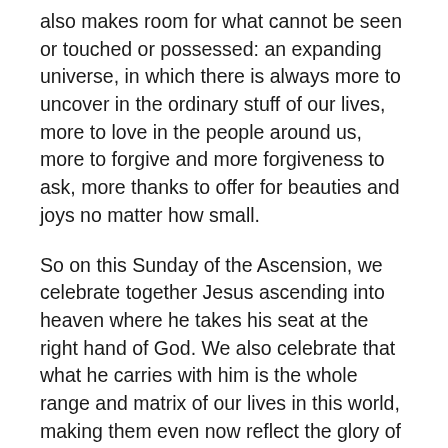also makes room for what cannot be seen or touched or possessed: an expanding universe, in which there is always more to uncover in the ordinary stuff of our lives, more to love in the people around us, more to forgive and more forgiveness to ask, more thanks to offer for beauties and joys no matter how small.
So on this Sunday of the Ascension, we celebrate together Jesus ascending into heaven where he takes his seat at the right hand of God. We also celebrate that what he carries with him is the whole range and matrix of our lives in this world, making them even now reflect the glory of heaven. And we pray for the grace to turn away from staring up into heaven looking for where Jesus has gone, to regarding our neighbors, the humdrum, and even the madness of our lives, with the same wonder and amazement: witnessing in them the splendor of heaven